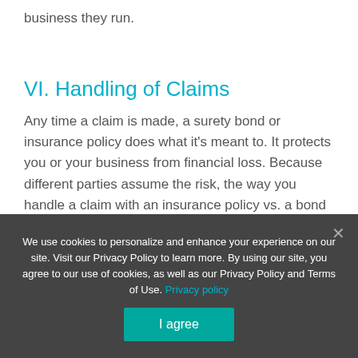business they run.
VI. Handling of Claims
Any time a claim is made, a surety bond or insurance policy does what it’s meant to. It protects you or your business from financial loss. Because different parties assume the risk, the way you handle a claim with an insurance policy vs. a bond looks quite different.
We use cookies to personalize and enhance your experience on our site. Visit our Privacy Policy to learn more. By using our site, you agree to our use of cookies, as well as our Privacy Policy and Terms of Use. Privacy policy
I agree